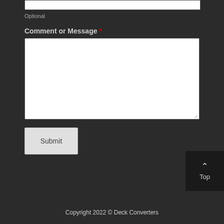[Figure (screenshot): Top portion of a white input text box, partially cut off at the top of the page]
Optional
Comment or Message *
[Figure (screenshot): Large white textarea input box for comment or message entry, with resize handle at bottom right]
[Figure (screenshot): Submit button - light grey rectangular button with text Submit]
[Figure (screenshot): Back to top button - dark square button with chevron up icon and text Top]
Copyright 2022 © Deck Converters